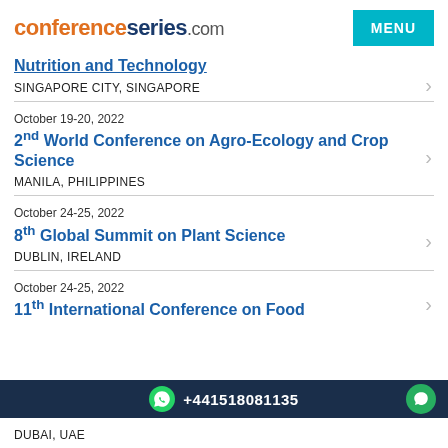conferenceseries.com MENU
Nutrition and Technology
SINGAPORE CITY, SINGAPORE
October 19-20, 2022
2nd World Conference on Agro-Ecology and Crop Science
MANILA, PHILIPPINES
October 24-25, 2022
8th Global Summit on Plant Science
DUBLIN, IRELAND
October 24-25, 2022
11th International Conference on Food
DUBAI, UAE
+441518081135